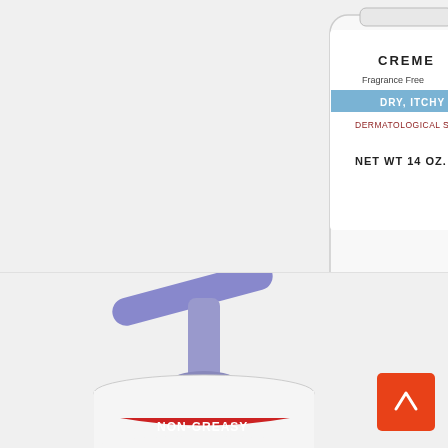[Figure (photo): Eucerin Calming Creme tube product image showing white tube with blue label reading 'DRY, ITCHY SKIN', 'DERMATOLOGICAL SKINCARE', 'NET WT 14 OZ. 396g', with a red cap at the bottom. Background is light gray.]
Eucerin Calming Creme Daily Moisturizer Daily Moisturizer Moisturizer Eucerin
[Figure (photo): Pump bottle product with purple/lavender pump top, white bottle body with red curved 'NON-GREASY' label. Background is light gray. A red back-to-top button is visible in the bottom right.]